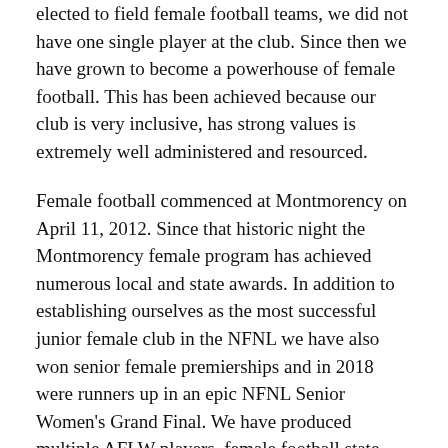elected to field female football teams, we did not have one single player at the club. Since then we have grown to become a powerhouse of female football. This has been achieved because our club is very inclusive, has strong values is extremely well administered and resourced.
Female football commenced at Montmorency on April 11, 2012. Since that historic night the Montmorency female program has achieved numerous local and state awards. In addition to establishing ourselves as the most successful junior female club in the NFNL we have also won senior female premierships and in 2018 were runners up in an epic NFNL Senior Women's Grand Final. We have produced multiple AFLW players, female football state captains and AFL Victoria Female State Coach of the Year Award winners.
In 2019 we established a second senior football side in the NFNL to cater for the growing number of players. This proved to be an outstanding success as we were able to provide a quality